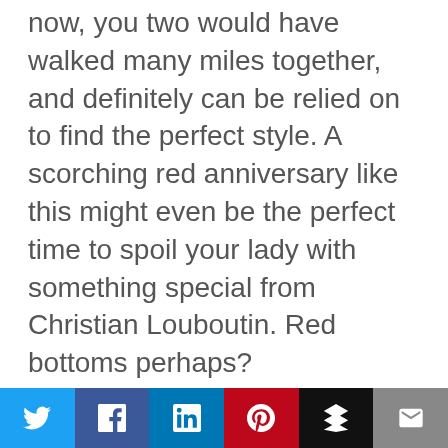now, you two would have walked many miles together, and definitely can be relied on to find the perfect style. A scorching red anniversary like this might even be the perfect time to spoil your lady with something special from Christian Louboutin. Red bottoms perhaps?
A champagne tasting
A champagne tasting is the ideal anniversary gift idea for the woman who
[Figure (infographic): Social sharing bar with Twitter, Facebook, LinkedIn, Pinterest, Buffer, and Email buttons]